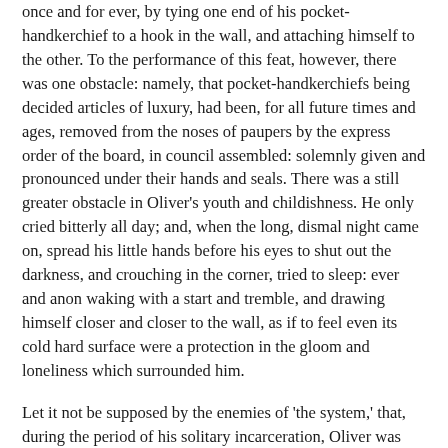once and for ever, by tying one end of his pocket-handkerchief to a hook in the wall, and attaching himself to the other. To the performance of this feat, however, there was one obstacle: namely, that pocket-handkerchiefs being decided articles of luxury, had been, for all future times and ages, removed from the noses of paupers by the express order of the board, in council assembled: solemnly given and pronounced under their hands and seals. There was a still greater obstacle in Oliver's youth and childishness. He only cried bitterly all day; and, when the long, dismal night came on, spread his little hands before his eyes to shut out the darkness, and crouching in the corner, tried to sleep: ever and anon waking with a start and tremble, and drawing himself closer and closer to the wall, as if to feel even its cold hard surface were a protection in the gloom and loneliness which surrounded him.
Let it not be supposed by the enemies of 'the system,' that, during the period of his solitary incarceration, Oliver was denied the benefit of exercise, the pleasure of society, or the advantages of religious consolation. As for exercise, it was nice cold weather, and he was allowed to perform his